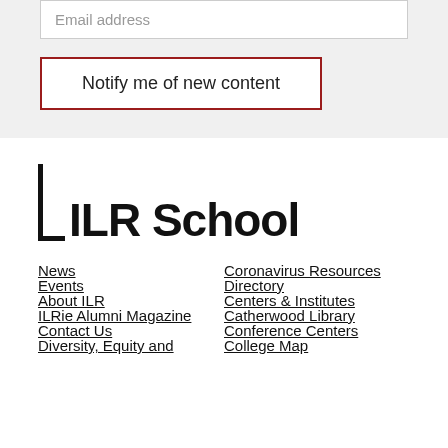Email address
Notify me of new content
[Figure (logo): ILR School logo with bracket symbol]
News
Events
About ILR
ILRie Alumni Magazine
Contact Us
Diversity, Equity and
Coronavirus Resources
Directory
Centers & Institutes
Catherwood Library
Conference Centers
College Map